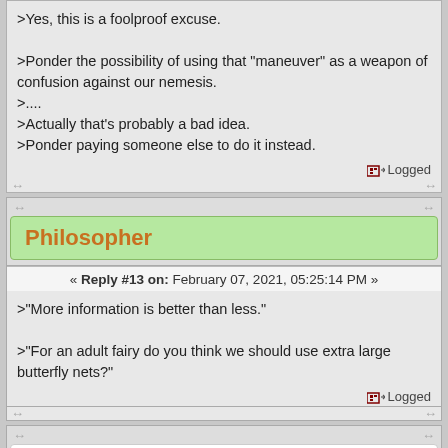>Yes, this is a foolproof excuse.

>Ponder the possibility of using that "maneuver" as a weapon of confusion against our nemesis.
>....
>Actually that's probably a bad idea.
>Ponder paying someone else to do it instead.
Logged
Philosopher
« Reply #13 on: February 07, 2021, 05:25:14 PM »
>"More information is better than less."

>"For an adult fairy do you think we should use extra large butterfly nets?"
Logged
Lumi
« Reply #14 on: February 08, 2021, 01:10:33 AM »